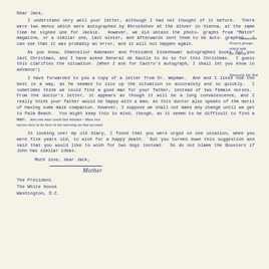Dear Jack,
I understand very well your letter, although I had not thought of it before. There were two menus which were autographed by Khrushchev at the dinner in Vienna, at the same time he signed one for Jackie. However, we did obtain the photographs from "Match" magazine, or a similar one, last winter, and afterwards sent them to be autographed. I can see that it was probably an error, and it will not happen again.
As you know, Chancellor Adenauer and President Eisenhower autographed books for you last Christmas, and I have asked General de Gaulle to do so for this Christmas. I guess this clarifies the situation. (When I ask for Castro's autograph, I shall let you know in advance!)
I have forwarded to you a copy of a letter from Dr. Wepman. Ann and I liked him the best in a way, as he seemed to size up the situation so accurately and so quickly. I sometimes think we could find a good man for your father, instead of two female nurses. From the doctor's letter, it appears as though it will be a long convalescence, and I really think your father would be happy with a man, as this doctor also speaks of the merit of having some male companion. However, I suppose we shall not make any change until we get to Palm Beach. You might keep this in mind, though, as it seems to be difficult to find a man. Also one man could last minutes - Have two nurses here to be here in the morning on that account
In looking over my old diary, I found that you were urged on one occasion, when you were five years old, to wish for a happy death. But you turned down this suggestion and said that you would like to wish for two dogs instead. So do not blame the Bouviers if John has similar ideas.
Much love, dear Jack,
[Figure (illustration): Handwritten signature reading 'Mother']
The President
The White House
Washington, D.C.